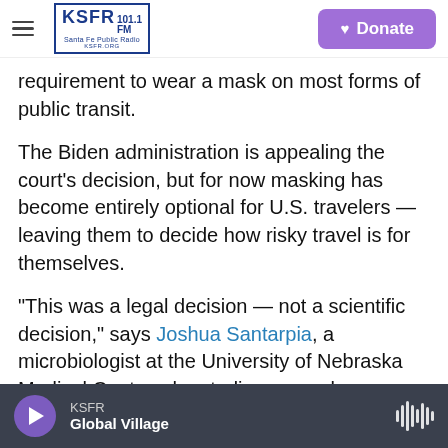KSFR 101.1 FM Santa Fe Public Radio | Donate
requirement to wear a mask on most forms of public transit.
The Biden administration is appealing the court's decision, but for now masking has become entirely optional for U.S. travelers — leaving them to decide how risky travel is for themselves.
"This was a legal decision — not a scientific decision," says Joshua Santarpia, a microbiologist at the University of Nebraska Medical Center who studies aerosol transmission of disease. "People should not take this as a sign that something has magically changed overnight."
KSFR | Global Village